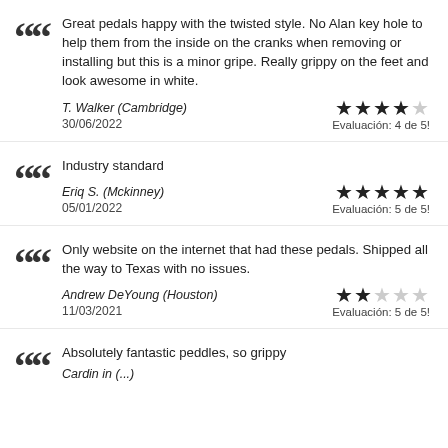Great pedals happy with the twisted style. No Alan key hole to help them from the inside on the cranks when removing or installing but this is a minor gripe. Really grippy on the feet and look awesome in white.
T. Walker (Cambridge)
30/06/2022
Evaluación: 4 de 5!
Industry standard
Eriq S. (Mckinney)
05/01/2022
Evaluación: 5 de 5!
Only website on the internet that had these pedals. Shipped all the way to Texas with no issues.
Andrew DeYoung (Houston)
11/03/2021
Evaluación: 5 de 5!
Absolutely fantastic peddles, so grippy